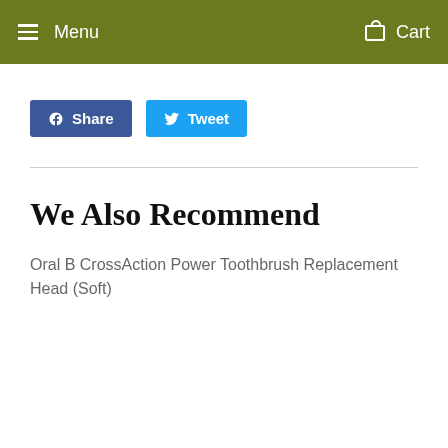Menu   Cart
[Figure (other): Social share buttons: Facebook Share and Twitter Tweet]
We Also Recommend
Oral B CrossAction Power Toothbrush Replacement Head (Soft)